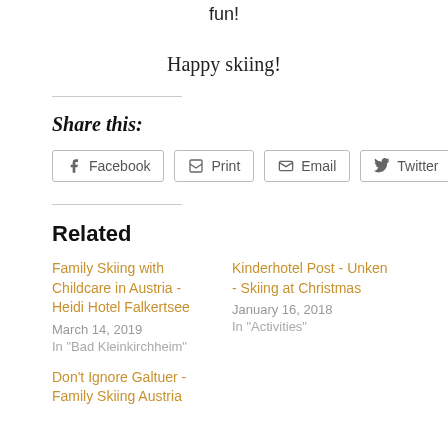fun!
Happy skiing!
Share this:
Facebook  Print  Email  Twitter
Related
Family Skiing with Childcare in Austria - Heidi Hotel Falkertsee
March 14, 2019
In "Bad Kleinkirchheim"
Kinderhotel Post - Unken - Skiing at Christmas
January 16, 2018
In "Activities"
Don't Ignore Galtuer - Family Skiing Austria